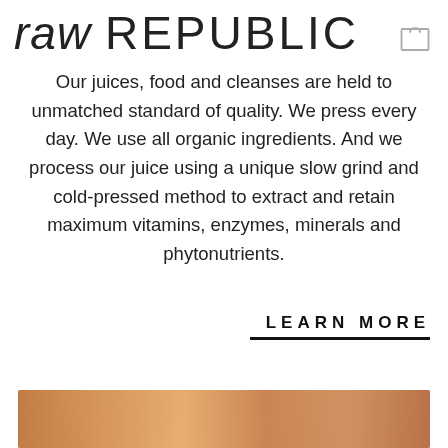raw REPUBLIC
Our juices, food and cleanses are held to unmatched standard of quality. We press every day. We use all organic ingredients. And we process our juice using a unique slow grind and cold-pressed method to extract and retain maximum vitamins, enzymes, minerals and phytonutrients.
LEARN MORE
[Figure (photo): Bottom portion of a food/juice product photo, showing warm orange-brown tones, partially visible at the bottom of the page.]